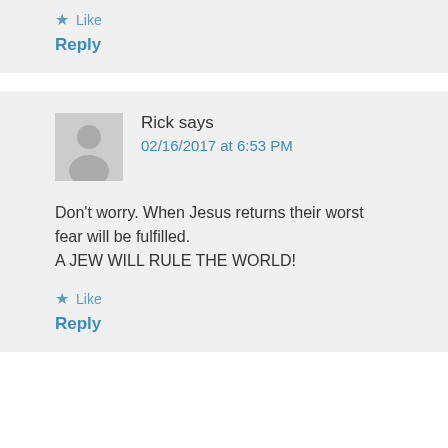Like
Reply
Rick says
02/16/2017 at 6:53 PM
Don't worry. When Jesus returns their worst fear will be fulfilled.
A JEW WILL RULE THE WORLD!
Like
Reply